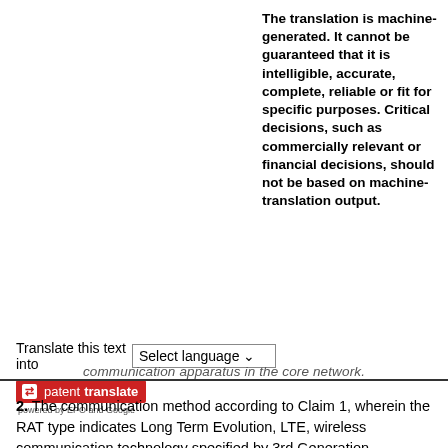The translation is machine-generated. It cannot be guaranteed that it is intelligible, accurate, complete, reliable or fit for specific purposes. Critical decisions, such as commercially relevant or financial decisions, should not be based on machine-translation output.
[Figure (other): Patent Translate widget: 'Translate this text into [Select language]' dropdown, followed by the patenttranslate logo (red badge with arrows icon, text 'patenttranslate', subtitle 'powered by EPO and Google')]
communication apparatus in the core network.
2. The communication method according to Claim 1, wherein the RAT type indicates Long Term Evolution, LTE, wireless communication technology specified by 3rd Generation